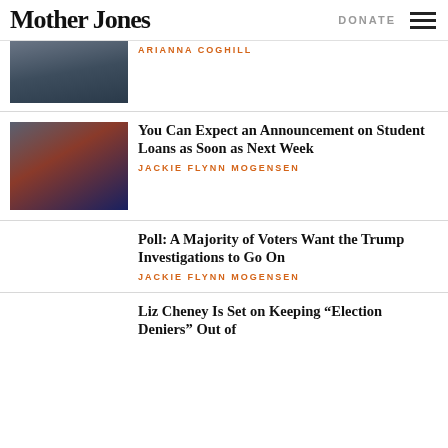Mother Jones | DONATE
[Figure (photo): Person in a suit at a hearing, partial view]
ARIANNA COGHILL
[Figure (photo): Joe Biden speaking in front of an American flag]
You Can Expect an Announcement on Student Loans as Soon as Next Week
JACKIE FLYNN MOGENSEN
Poll: A Majority of Voters Want the Trump Investigations to Go On
JACKIE FLYNN MOGENSEN
Liz Cheney Is Set on Keeping "Election Deniers" Out of